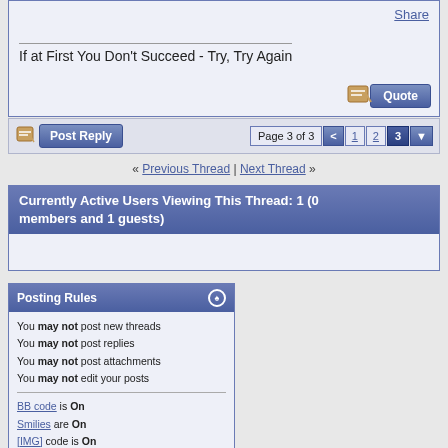Share
If at First You Don't Succeed - Try, Try Again
Post Reply | Page 3 of 3 < 1 2 3
« Previous Thread | Next Thread »
Currently Active Users Viewing This Thread: 1 (0 members and 1 guests)
Posting Rules
You may not post new threads
You may not post replies
You may not post attachments
You may not edit your posts
BB code is On
Smilies are On
[IMG] code is On
HTML code is Off
Trackbacks are On
Pingbacks are On
Refbacks are On